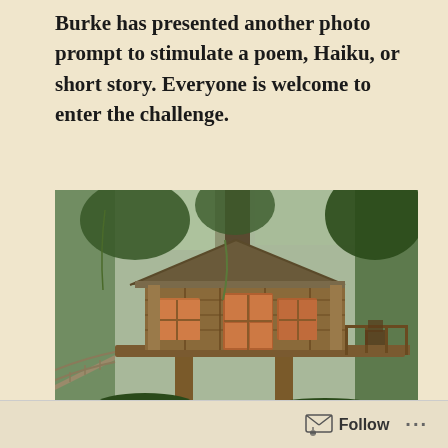Burke has presented another photo prompt to stimulate a poem, Haiku, or short story. Everyone is welcome to enter the challenge.
[Figure (photo): A rustic wooden treehouse elevated on stilts among tall forest trees, with orange-framed windows, a small deck with chairs, and a rope bridge leading to it. Surrounded by lush green forest.]
Follow ···